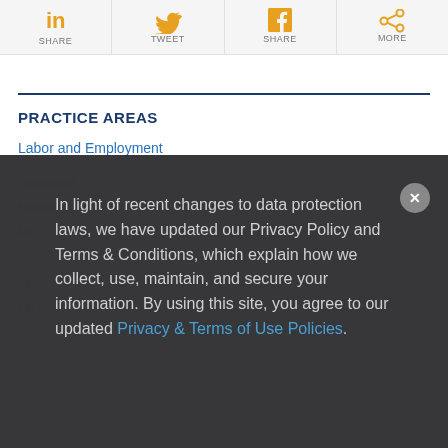[Figure (infographic): Social sharing buttons bar with LinkedIn Share, Twitter Tweet, Facebook Share, and More icons in orange on light gray background]
PRACTICE AREAS
Labor and Employment
In light of recent changes to data protection laws, we have updated our Privacy Policy and Terms & Conditions, which explain how we collect, use, maintain, and secure your information. By using this site, you agree to our updated Privacy & Terms of Use Policies.